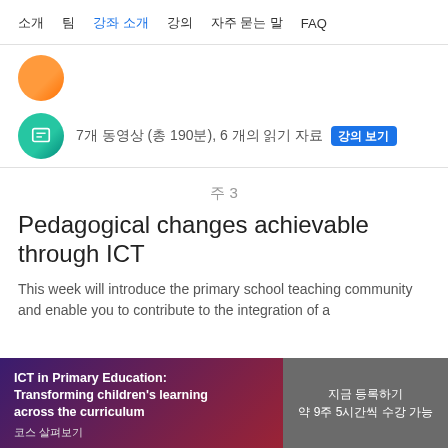소개  팀  강좌 소개  강의  자주 묻는 말  FAQ
[Figure (illustration): Orange circle icon at top left]
7개 동영상 (총 190분), 6 개의 읽기 자료  강의 보기
주 3
Pedagogical changes achievable through ICT
This week will introduce the primary school teaching community and enable you to contribute to the integration of a
ICT in Primary Education: Transforming children's learning across the curriculum
코스 살펴보기
지금 등록하기
약 9주 5시간씩 수강 가능